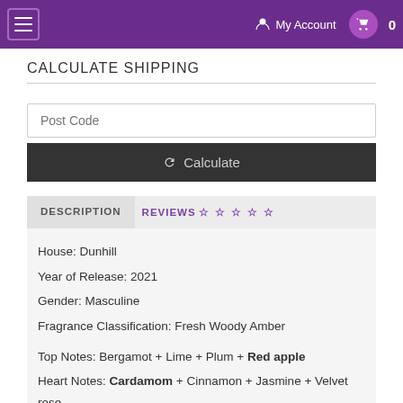My Account  0
CALCULATE SHIPPING
Post Code
Calculate
DESCRIPTION   REVIEWS ☆☆☆☆☆
House: Dunhill
Year of Release: 2021
Gender: Masculine
Fragrance Classification: Fresh Woody Amber

Top Notes: Bergamot + Lime + Plum + Red apple
Heart Notes: Cardamom + Cinnamon + Jasmine + Velvet rose